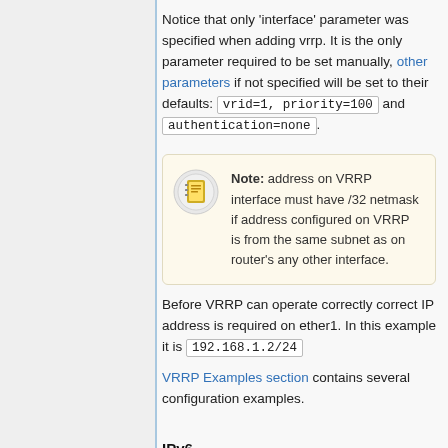Notice that only 'interface' parameter was specified when adding vrrp. It is the only parameter required to be set manually, other parameters if not specified will be set to their defaults: vrid=1, priority=100 and authentication=none.
Note: address on VRRP interface must have /32 netmask if address configured on VRRP is from the same subnet as on router's any other interface.
Before VRRP can operate correctly correct IP address is required on ether1. In this example it is 192.168.1.2/24
VRRP Examples section contains several configuration examples.
IPv6